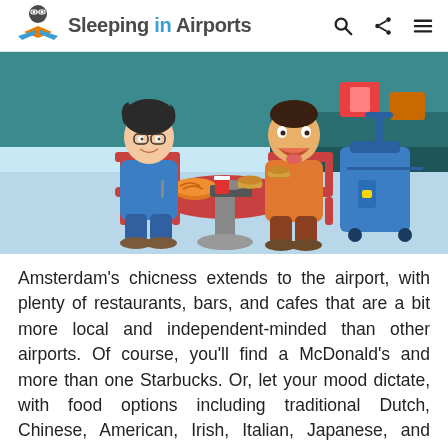Sleeping in Airports
[Figure (illustration): Cartoon illustration of two travelers eating at a round red table in an airport food court. One person with glasses and dark hair eats noodles from an orange bowl; the other person in an orange shirt eats a burger. A blue rolling suitcase sits beside the table. Airport food stalls visible in background.]
Amsterdam's chicness extends to the airport, with plenty of restaurants, bars, and cafes that are a bit more local and independent-minded than other airports. Of course, you'll find a McDonald's and more than one Starbucks. Or, let your mood dictate, with food options including traditional Dutch, Chinese, American, Irish, Italian, Japanese, and more. Breezy kiosks serve up cold-pressed juice and organic options. Don't forget to sample the